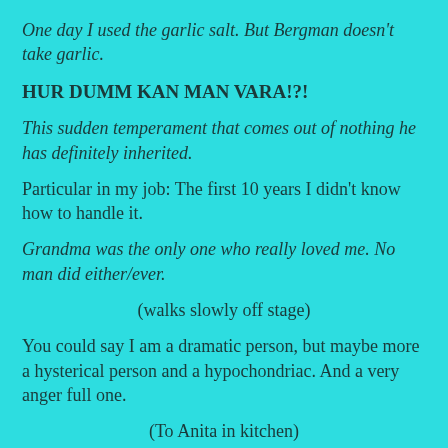One day I used the garlic salt. But Bergman doesn't take garlic.
HUR DUMM KAN MAN VARA!?!
This sudden temperament that comes out of nothing he has definitely inherited.
Particular in my job: The first 10 years I didn't know how to handle it.
Grandma was the only one who really loved me. No man did either/ever.
(walks slowly off stage)
You could say I am a dramatic person, but maybe more a hysterical person and a hypochondriac. And a very anger full one.
(To Anita in kitchen)
Rita are you having a cold? Don't come! I don't want your bacteria.
I had to put up a big discipline. People didn't like to work with me. So I did train and try to be a polite person…